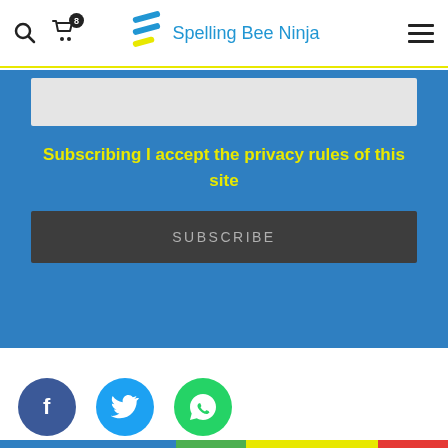Spelling Bee Ninja
Subscribing I accept the privacy rules of this site
SUBSCRIBE
[Figure (other): Social share icons: Facebook (dark blue circle with f), Twitter (blue circle with bird), WhatsApp (green circle with phone/speech bubble)]